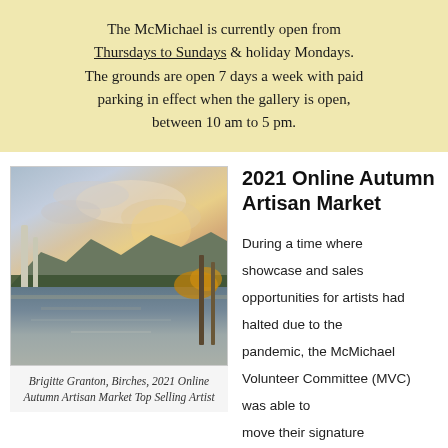The McMichael is currently open from Thursdays to Sundays & holiday Mondays. The grounds are open 7 days a week with paid parking in effect when the gallery is open, between 10 am to 5 pm.
[Figure (illustration): Oil painting of a lake landscape at sunset with birch trees, forest, mountains, and dramatic sky with clouds. Painted by Brigitte Granton.]
Brigitte Granton, Birches, 2021 Online Autumn Artisan Market Top Selling Artist
2021 Online Autumn Artisan Market
During a time where showcase and sales opportunities for artists had halted due to the pandemic, the McMichael Volunteer Committee (MVC) was able to move their signature